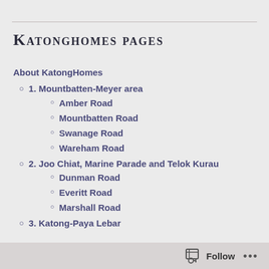Katonghomes pages
About KatongHomes
1. Mountbatten-Meyer area
Amber Road
Mountbatten Road
Swanage Road
Wareham Road
2. Joo Chiat, Marine Parade and Telok Kurau
Dunman Road
Everitt Road
Marshall Road
3. Katong-Paya Lebar
Follow ...